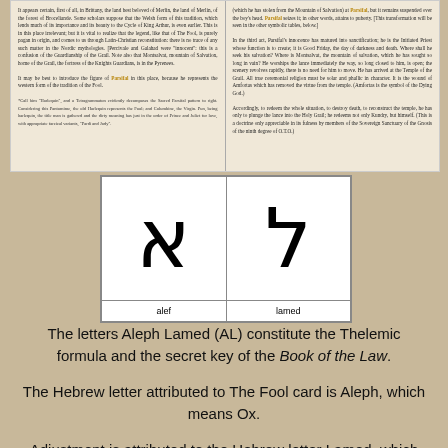[Figure (other): Two-page book spread showing dense text about Parsifal, the Grail legend, and related esoteric topics. Left page discusses Parsifal's connection to Merlin, Broceliande, Welsh tradition, King Arthur, Montsalvat, and the Knights Guardians. Right page discusses Parsifal's role as an Initiate Priest, Good Friday, the Temple of the Grail, and destroying death.]
| alef | lamed |
| --- | --- |
| [Hebrew letter Alef symbol] | [Hebrew letter Lamed symbol] |
The letters Aleph Lamed (AL) constitute the Thelemic formula and the secret key of the Book of the Law. The Hebrew letter attributed to The Fool card is Aleph, which means Ox. Adjustment is attributed to the Hebrew letter Lamed, which means Ox Goad. The figure on this card, Adjustment, is said to be the female counterpart to The Fool. Yet it can be deduced that they are